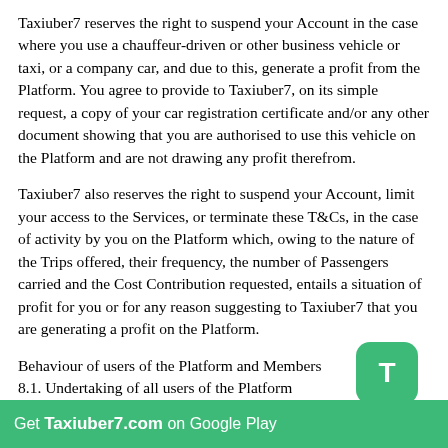Taxiuber7 reserves the right to suspend your Account in the case where you use a chauffeur-driven or other business vehicle or taxi, or a company car, and due to this, generate a profit from the Platform. You agree to provide to Taxiuber7, on its simple request, a copy of your car registration certificate and/or any other document showing that you are authorised to use this vehicle on the Platform and are not drawing any profit therefrom.
Taxiuber7 also reserves the right to suspend your Account, limit your access to the Services, or terminate these T&Cs, in the case of activity by you on the Platform which, owing to the nature of the Trips offered, their frequency, the number of Passengers carried and the Cost Contribution requested, entails a situation of profit for you or for any reason suggesting to Taxiuber7 that you are generating a profit on the Platform.
Behaviour of users of the Platform and Members
8.1. Undertaking of all users of the Platform
You recognise being solely responsible for respecting all laws, regulations and obligations applicable to your use of the Platform.
Furthermore, when using the Platform and during Trips, you undertake to: